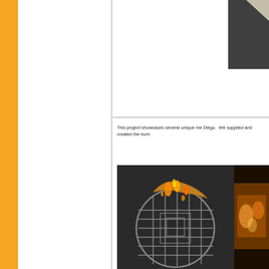[Figure (photo): Close-up photo of a dark grey/concrete surface with a light-colored corner or edge visible in the upper right area.]
This project showcases several unique me Diego.  We supplied and created the burn
[Figure (photo): Photo of a circular metal burner grid/frame laying on a surface, with flames burning along a curved metal piece on top. The grid shows a concentric square pattern inside a circle.]
[Figure (photo): Partial right-side photo showing warm orange glow, likely another view of the fire feature.]